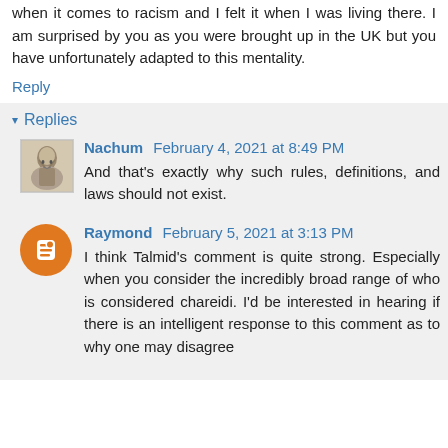when it comes to racism and I felt it when I was living there. I am surprised by you as you were brought up in the UK but you have unfortunately adapted to this mentality.
Reply
Replies
Nachum  February 4, 2021 at 8:49 PM
And that's exactly why such rules, definitions, and laws should not exist.
Raymond  February 5, 2021 at 3:13 PM
I think Talmid's comment is quite strong. Especially when you consider the incredibly broad range of who is considered chareidi. I'd be interested in hearing if there is an intelligent response to this comment as to why one may disagree